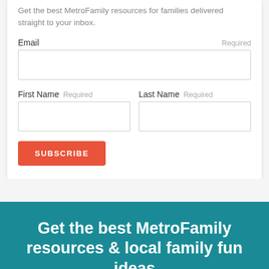Get the best MetroFamily resources for families delivered straight to your inbox.
Email  Required
[Figure (screenshot): Email input field (empty text box)]
First Name  Required   Last Name  Required
[Figure (screenshot): First Name and Last Name input fields side by side]
SUBSCRIBE
Get the best MetroFamily resources & local family fun ideas